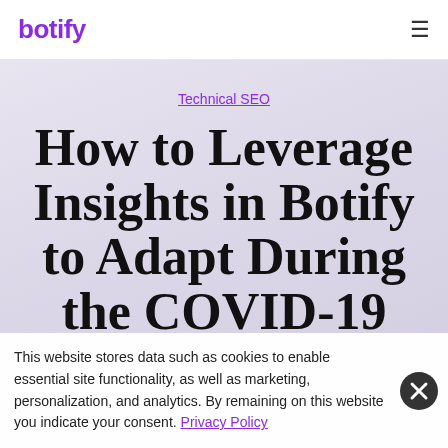botify
Technical SEO
How to Leverage Insights in Botify to Adapt During the COVID-19
This website stores data such as cookies to enable essential site functionality, as well as marketing, personalization, and analytics. By remaining on this website you indicate your consent. Privacy Policy